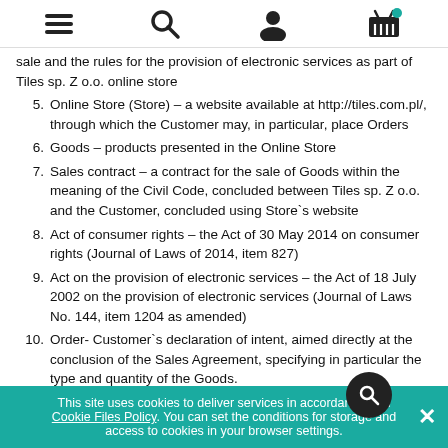[navigation icons: menu, search, user, basket]
sale and the rules for the provision of electronic services as part of Tiles sp. Z o.o. online store
5. Online Store (Store) – a website available at http://tiles.com.pl/, through which the Customer may, in particular, place Orders
6. Goods – products presented in the Online Store
7. Sales contract – a contract for the sale of Goods within the meaning of the Civil Code, concluded between Tiles sp. Z o.o. and the Customer, concluded using Store`s website
8. Act of consumer rights – the Act of 30 May 2014 on consumer rights (Journal of Laws of 2014, item 827)
9. Act on the provision of electronic services – the Act of 18 July 2002 on the provision of electronic services (Journal of Laws No. 144, item 1204 as amended)
10. Order- Customer`s declaration of intent, aimed directly at the conclusion of the Sales Agreement, specifying in particular the type and quantity of the Goods.
This site uses cookies to deliver services in accordance with Cookie Files Policy. You can set the conditions for storage and access to cookies in your browser settings.